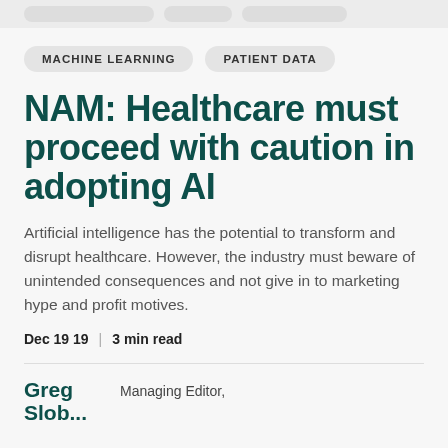MACHINE LEARNING
PATIENT DATA
NAM: Healthcare must proceed with caution in adopting AI
Artificial intelligence has the potential to transform and disrupt healthcare. However, the industry must beware of unintended consequences and not give in to marketing hype and profit motives.
Dec 19 19  |  3 min read
Greg Slobodkin  Managing Editor,